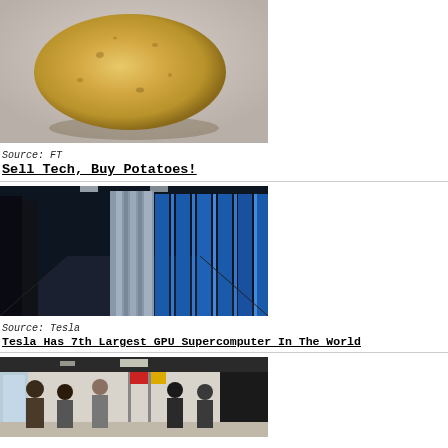[Figure (photo): A single potato photographed against a light gray/beige background, casting a shadow.]
Source: FT
Sell Tech, Buy Potatoes!
[Figure (photo): Interior of a data center showing rows of server racks with blue lighting and metallic panels.]
Source: Tesla
Tesla Has 7th Largest GPU Supercomputer In The World
[Figure (photo): Group of people in a meeting room or formal setting, some holding flags.]